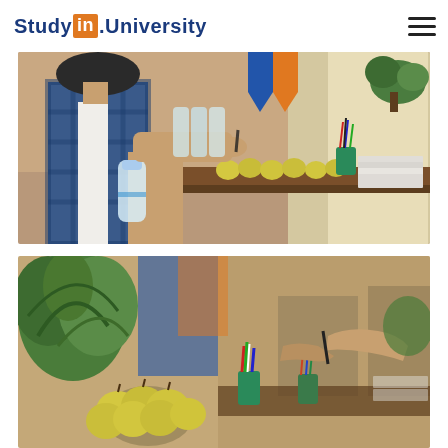StudyIn.University
[Figure (photo): A person in a blue plaid shirt holding a water bottle at a university orientation or registration table, with apples, notebooks, pens and plants visible on the table in a bright indoor setting.]
[Figure (photo): Close-up of a university registration or welcome table with a bowl of yellow/green apples, colorful pens in cups, plants, and hands exchanging items, in a bright indoor setting with blue decorations in the background.]